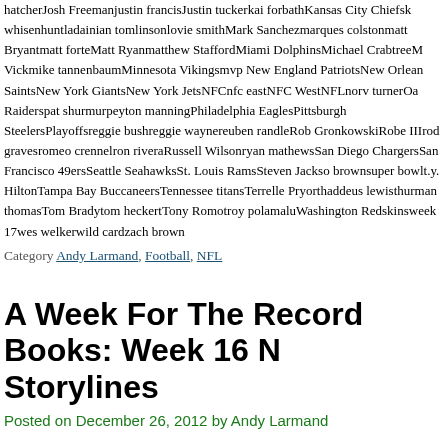hatcherJosh Freemanjustin francisJustin tuckerkai forbathKansas City Chiefskwhisenhuntladainian tomlinsonlovie smithMark Sanchezmarques colstonmatt Bryantmatt forteMatt Ryanmatthew StaffordMiami DolphinsMichael CrabtreeMVickmike tannenbaumMinnesota Vikingsmvp New England PatriotsNew Orleans SaintsNew York GiantsNew York JetsNFCnfc eastNFC WestNFLnorv turnerOakland Raiderspat shurmurpeyton manningPhiladelphia EaglesPittsburgh SteelersPlayoffsreggie bushreggie waynereuben randleRob GronkowskiRobert IIIrod gravesromeo crennelron riveraRussell Wilsonryan mathewsSan Diego ChargersSan Francisco 49ersSeattle SeahawksSt. Louis RamsSteven Jackson brownsuper bowlt.y. HiltonTampa Bay BuccaneersTerrelle PryorThaddeus lewisthurman thomasTom Bradytom heckertTony Romotroy polamaluWashington Redskinsweek 17wes welkerwild cardzach brown
Category Andy Larmand, Football, NFL
A Week For The Record Books: Week 16 NFL Storylines
Posted on December 26, 2012 by Andy Larmand
Week 16 gave us plenty of gifts right before Christmas including playoff clinching performances, records being set, quarterback controversies and of c